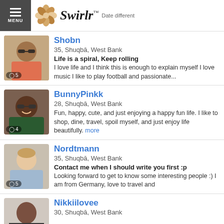Swirlr™ Date different
[Figure (photo): Profile photo of Shobn, person wearing sunglasses, with photo count badge showing 5]
Shobn
35, Shuqbā, West Bank
Life is a spiral, Keep rolling
I love life and I think this is enough to explain myself I love music I like to play football and passionate...
[Figure (photo): Profile photo of BunnyPinkk, smiling woman wearing sunglasses, with photo count badge showing 4]
BunnyPinkk
28, Shuqbā, West Bank
Fun, happy, cute, and just enjoying a happy fun life. I like to shop, dine, travel, spoil myself, and just enjoy life beautifully. more
[Figure (photo): Profile photo of Nordtmann, young man in light blue shirt, with photo count badge showing 5]
Nordtmann
35, Shuqbā, West Bank
Contact me when I should write you first :p
Looking forward to get to know some interesting people :) I am from Germany, love to travel and
[Figure (photo): Profile photo of Nikkiilovee, partial view]
Nikkiilovee
30, Shuqbā, West Bank